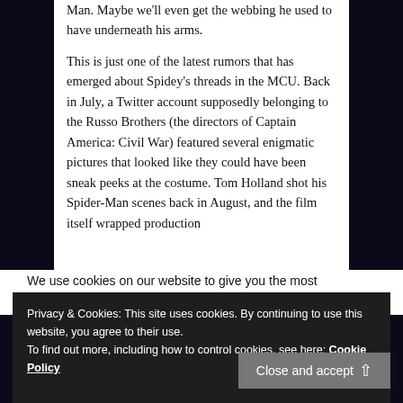Man. Maybe we'll even get the webbing he used to have underneath his arms.

This is just one of the latest rumors that has emerged about Spidey's threads in the MCU. Back in July, a Twitter account supposedly belonging to the Russo Brothers (the directors of Captain America: Civil War) featured several enigmatic pictures that looked like they could have been sneak peeks at the costume. Tom Holland shot his Spider-Man scenes back in August, and the film itself wrapped production
We use cookies on our website to give you the most
Privacy & Cookies: This site uses cookies. By continuing to use this website, you agree to their use.
To find out more, including how to control cookies, see here: Cookie Policy
Close and accept